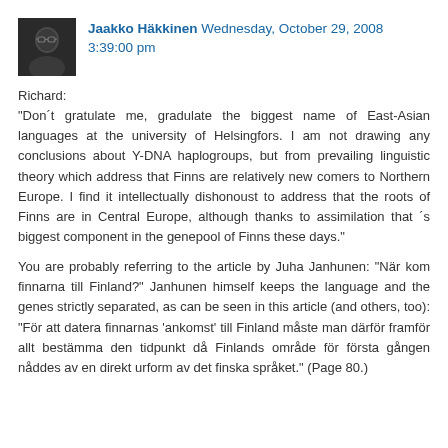Jaakko Häkkinen Wednesday, October 29, 2008 3:39:00 pm
Richard:
"Don´t gratulate me, gradulate the biggest name of East-Asian languages at the university of Helsingfors. I am not drawing any conclusions about Y-DNA haplogroups, but from prevailing linguistic theory which address that Finns are relatively new comers to Northern Europe. I find it intellectually dishonoust to address that the roots of Finns are in Central Europe, although thanks to assimilation that ´s biggest component in the genepool of Finns these days."

You are probably referring to the article by Juha Janhunen: "När kom finnarna till Finland?" Janhunen himself keeps the language and the genes strictly separated, as can be seen in this article (and others, too): "För att datera finnarnas 'ankomst' till Finland måste man därför framför allt bestämma den tidpunkt då Finlands område för första gången nåddes av en direkt urform av det finska språket." (Page 80.)